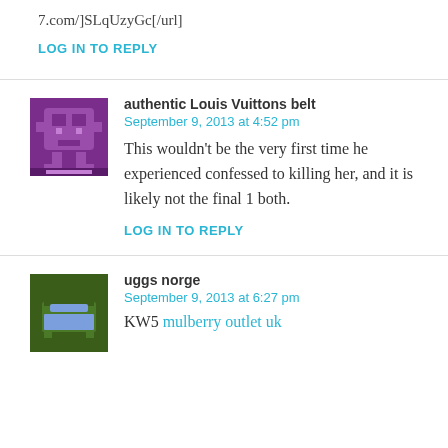7.com/]SLqUzyGc[/url]
LOG IN TO REPLY
authentic Louis Vuittons belt
September 9, 2013 at 4:52 pm
This wouldn’t be the very first time he experienced confessed to killing her, and it is likely not the final 1 both.
LOG IN TO REPLY
uggs norge
September 9, 2013 at 6:27 pm
KW5 mulberry outlet uk